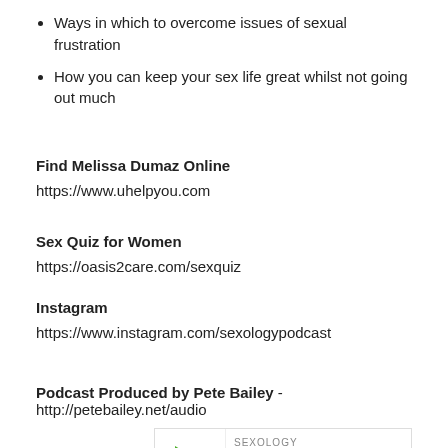Ways in which to overcome issues of sexual frustration
How you can keep your sex life great whilst not going out much
Find Melissa Dumaz Online
https://www.uhelpyou.com
Sex Quiz for Women
https://oasis2care.com/sexquiz
Instagram
https://www.instagram.com/sexologypodcast
Podcast Produced by Pete Bailey - http://petebailey.net/audio
[Figure (screenshot): Podcast player card for Sexology podcast showing EP289 - How to Have a Sex Life W... with play button, Sexology logo, and progress bar]